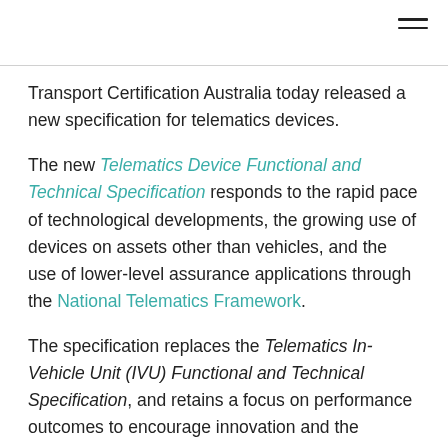Transport Certification Australia today released a new specification for telematics devices.
The new Telematics Device Functional and Technical Specification responds to the rapid pace of technological developments, the growing use of devices on assets other than vehicles, and the use of lower-level assurance applications through the National Telematics Framework.
The specification replaces the Telematics In-Vehicle Unit (IVU) Functional and Technical Specification, and retains a focus on performance outcomes to encourage innovation and the deployment of new technologies.
The new specification complements the new applications and features available through the National Telematics...